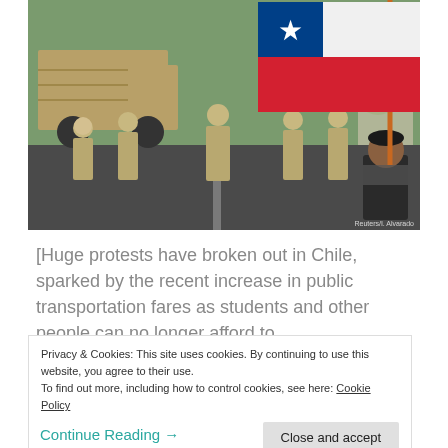[Figure (photo): Soldiers in desert camouflage uniforms running on a road, with a military truck in the background and a man on the right holding a Chilean flag on an orange pole. Trees and buildings visible in background. Reuters/I. Alvarado watermark visible.]
[Huge protests have broken out in Chile, sparked by the recent increase in public transportation fares as students and other people can no longer afford to
Privacy & Cookies: This site uses cookies. By continuing to use this website, you agree to their use.
To find out more, including how to control cookies, see here: Cookie Policy
Close and accept
Continue Reading →